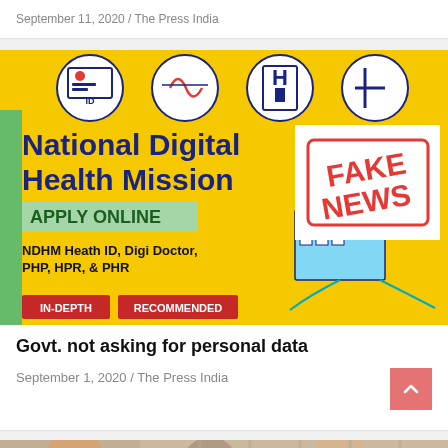September 11, 2020 / The Press India
[Figure (infographic): National Digital Health Mission infographic on yellow background with icons for ID, health, hospital. Shows 'APPLY ONLINE' in green, 'NDHM Heath ID, Digi Doctor, ...' text, a hospital illustration, and a 'FAKE NEWS' red stamp overlay. Tags: IN-DEPTH, RECOMMENDED.]
Govt. not asking for personal data
September 1, 2020 / The Press India
[Figure (photo): Photo of people wearing face masks, partially visible at the bottom of the page.]